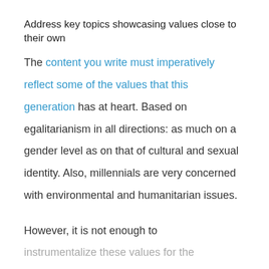Address key topics showcasing values close to their own
The content you write must imperatively reflect some of the values that this generation has at heart. Based on egalitarianism in all directions: as much on a gender level as on that of cultural and sexual identity. Also, millennials are very concerned with environmental and humanitarian issues.
However, it is not enough to instrumentalize these values for the